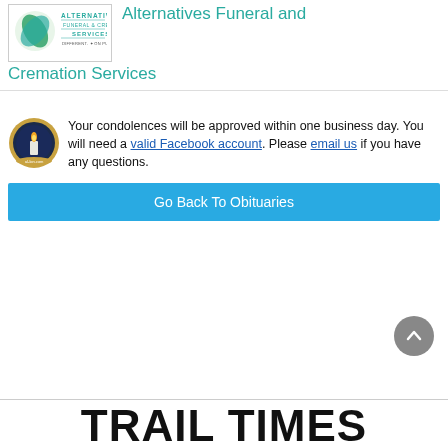[Figure (logo): Alternatives Funeral and Cremation Services logo with leaf graphic and tagline 'Different. On Purpose.']
Alternatives Funeral and Cremation Services
Your condolences will be approved within one business day. You will need a valid Facebook account. Please email us if you have any questions.
Go Back To Obituaries
TRAIL TIMES